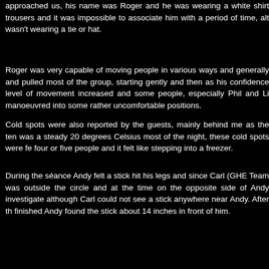approached us, his name was Roger and he was wearing a white shirt trousers and it was impossible to associate him with a period of time, alt wasn't wearing a tie or hat.
Roger was very capable of moving people in various ways and generally and pulled most of the group, starting gently and then as his confidence level of movement increased and some people, especially Phil and Li manoeuvred into some rather uncomfortable positions.
Cold spots were also reported by the guests, mainly behind me as the ten was a steady 20 degrees Celsius most of the night, these cold spots were fe four or five people and it felt like stepping into a freezer.
During the séance Andy felt a stick hit his legs and since Carl (GHE Team was outside the circle and at the time on the opposite side of Andy investigate although Carl could not see a stick anywhere near Andy. After th finished Andy found the stick about 14 inches in front of him.
After the séance finished, which I concluded after most people apart from either felt arm movement or had been pushed by Roger, some of th wandered deeper into the woods as they thought they heard voices a whilst the séance was taking place. The rest of the guests made their way woods.
However those that stayed listening in the woods were soon returning beca heard footfalls in the woods and since no torch light was seen, this scared th
We made our way back to the site of the manor house and conducted although when we played the recording back very few anomalies